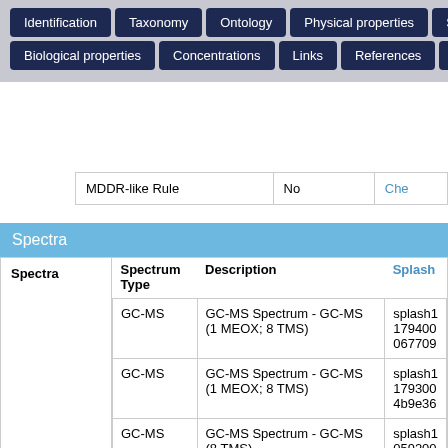Identification | Taxonomy | Ontology | Physical properties | Spectra | Biological properties | Concentrations | Links | References | XML
|  | MDDR-like Rule | No | Che... |
| --- | --- | --- | --- |
|  | MDDR-like Rule | No | Che |
Spectra
| Spectra | Spectrum Type | Description | Splash |
| --- | --- | --- | --- |
| GC-MS | GC-MS Spectrum - GC-MS (1 MEOX; 8 TMS) | splash1179400...067709... |
| GC-MS | GC-MS Spectrum - GC-MS (1 MEOX; 8 TMS) | splash1179300...4b9e36... |
| GC-MS | GC-MS Spectrum - GC-MS (8 TMS) | splash1059200...fd6c9b... |
| GC-MS | GC-MS Spectrum - GC-EI- | splash... |